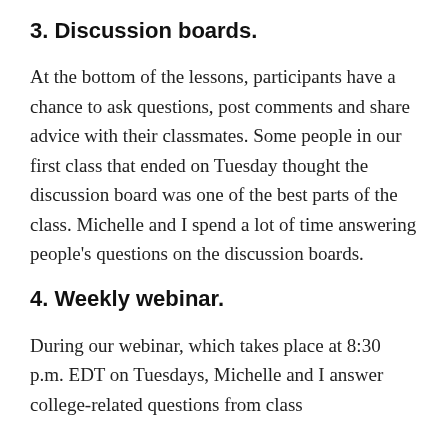3. Discussion boards.
At the bottom of the lessons, participants have a chance to ask questions, post comments and share advice with their classmates. Some people in our first class that ended on Tuesday thought the discussion board was one of the best parts of the class. Michelle and I spend a lot of time answering people's questions on the discussion boards.
4. Weekly webinar.
During our webinar, which takes place at 8:30 p.m. EDT on Tuesdays, Michelle and I answer college-related questions from class